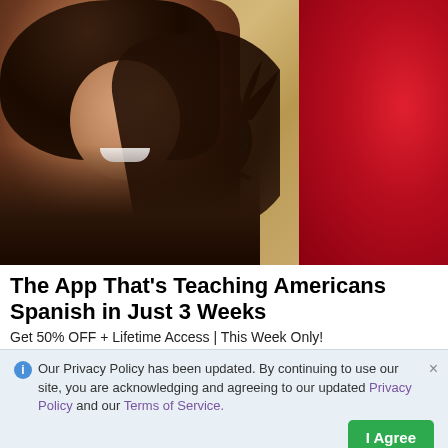[Figure (photo): Woman with long brown hair laughing, overlaid on Mexican flag with green, white/gold, and red vertical stripes and eagle emblem in center]
The App That’s Teaching Americans Spanish in Just 3 Weeks
Get 50% OFF + Lifetime Access | This Week Only!
ⓘ Our Privacy Policy has been updated. By continuing to use our site, you are acknowledging and agreeing to our updated Privacy Policy and our Terms of Service.
I Agree